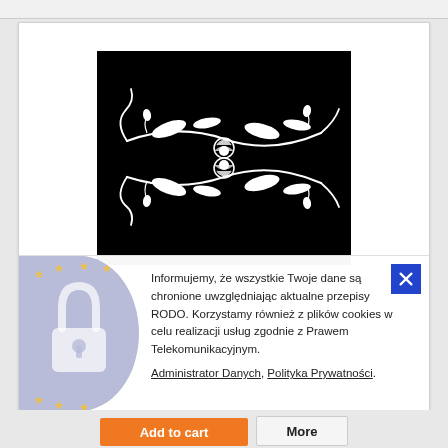[Figure (illustration): Black background with white decorative floral/vine illustration showing symmetrical branches with leaves and flower buds]
Informujemy, że wszystkie Twoje dane są chronione uwzględniając aktualne przepisy RODO. Korzystamy również z plików cookies w celu realizacji usług zgodnie z Prawem Telekomunikacyjnym. Administrator Danych, Polityka Prywatności.